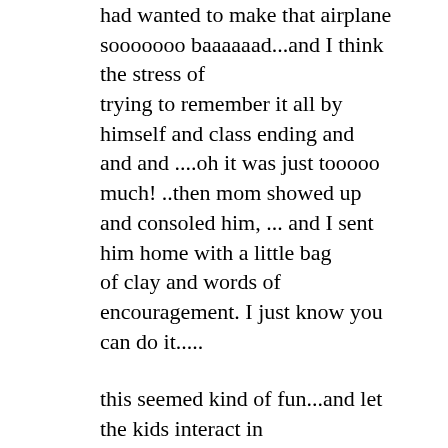had wanted to make that airplane sooooooo baaaaaad...and I think the stress of trying to remember it all by himself and class ending and and and ....oh it was just tooooo much! ..then mom showed up and consoled him, ... and I sent him home with a little bag of clay and words of encouragement. I just know you can do it.....

this seemed kind of fun...and let the kids interact in different ways. It also allowed me to see different aspects of each child's personality